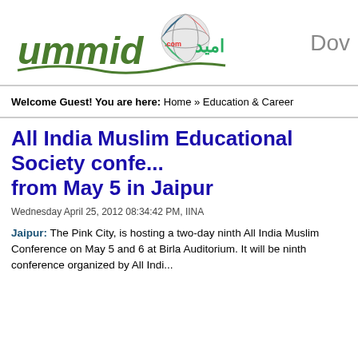[Figure (logo): Ummid.com logo with Arabic text and globe icon, plus partial 'Dow' text on the right]
Welcome Guest! You are here: Home » Education & Career
All India Muslim Educational Society confe... from May 5 in Jaipur
Wednesday April 25, 2012 08:34:42 PM, IINA
Jaipur: The Pink City, is hosting a two-day ninth All India Muslim Conference on May 5 and 6 at Birla Auditorium. It will be ninth conference organized by All Indi...